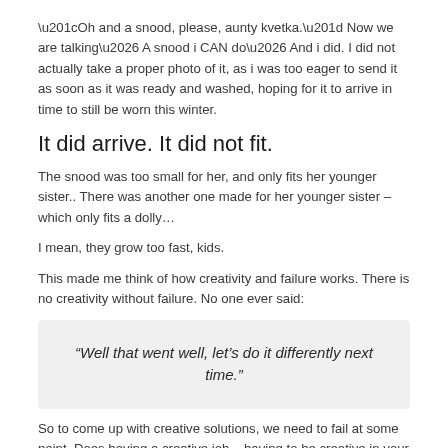“Oh and a snood, please, aunty kvetka.” Now we are talking… A snood i CAN do… And i did. I did not actually take a proper photo of it, as i was too eager to send it as soon as it was ready and washed, hoping for it to arrive in time to still be worn this winter.
It did arrive. It did not fit.
The snood was too small for her, and only fits her younger sister.. There was another one made for her younger sister – which only fits a dolly…
I mean, they grow too fast, kids.
This made me think of how creativity and failure works. There is no creativity without failure. No one ever said:
“Well that went well, let’s do it differently next time.”
So to come up with creative solutions, we need to fail at some point. Does having a creative job – having to be creative in your all day, every day routine make you less or more likely to embrace failures? Discuss…